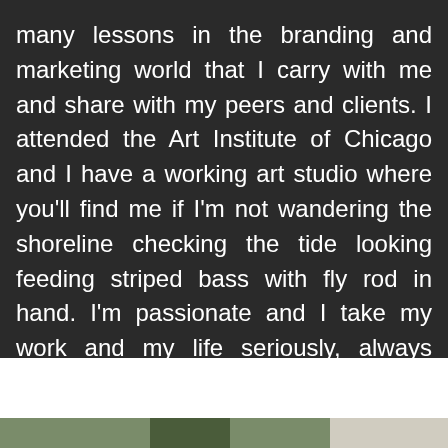many lessons in the branding and marketing world that I carry with me and share with my peers and clients. I attended the Art Institute of Chicago and I have a working art studio where you'll find me if I'm not wandering the shoreline checking the tide looking feeding striped bass with fly rod in hand. I'm passionate and I take my work and my life seriously, always looking to improve.
[Figure (photo): Partial view of an outdoor photo visible at the very bottom of the page]